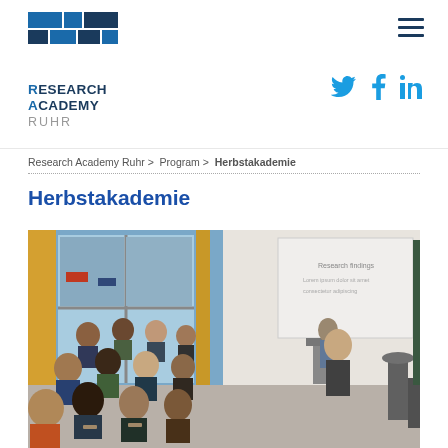Research Academy Ruhr — header with logo and navigation
[Figure (logo): Research Academy Ruhr logo with blue geometric shapes and text]
Twitter, Facebook, LinkedIn social media icons
Research Academy Ruhr > Program > Herbstakademie
Herbstakademie
[Figure (photo): Classroom scene with students seated listening to a speaker during a Herbstakademie (autumn academy) session. Large windows with yellow curtains on the left, a projection screen on the right showing a presentation, and two presenters visible.]